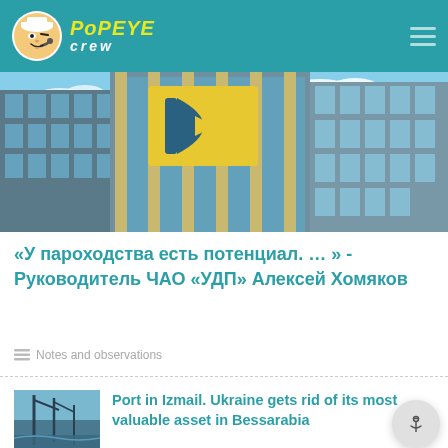Popeye Crew
[Figure (photo): Exterior of a modern glass office building with a large yellow logo (stylized D shape) on the facade, photographed from below against a blue sky with clouds]
«У пароходства есть потенциал. … » - Руководитель ЧАО «УДП» Алексей Хомяков
Notes and observations
[Figure (photo): Small thumbnail photo showing ship masts or cranes at a port]
Port in Izmail. Ukraine gets rid of its most valuable asset in Bessarabia
Notes and observations
Rating of companies that will help pass the